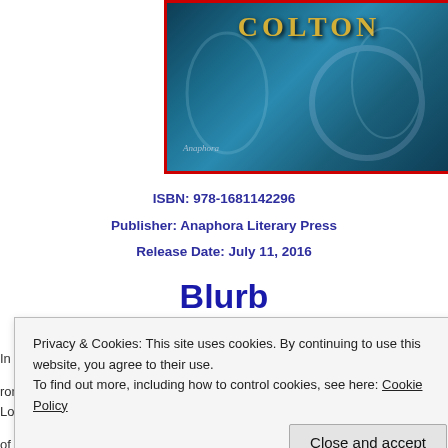[Figure (photo): Book cover image with dark teal/blue background showing the word COLTON in gold letters at the top, with Anaphora publisher logo at bottom left. Bordered in red.]
ISBN: 978-1681142296
Publisher: Anaphora Literary Press
Release Date: July 11, 2016
Blurb
In a style reminiscent of nineteenth-century authors, Forever Gentleman is a s romance, mystery, and music. Travel back in time and experience Victorian Lo of beauty and brilliance, and a city steeped in filth and despair. Meet Nathan S ar ng su ite Ch . h hu .
Privacy & Cookies: This site uses cookies. By continuing to use this website, you agree to their use.
To find out more, including how to control cookies, see here: Cookie Policy
Close and accept